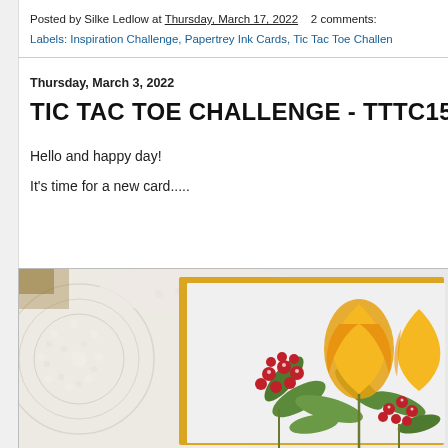Posted by Silke Ledlow at Thursday, March 17, 2022   2 comments:
Labels: Inspiration Challenge, Papertrey Ink Cards, Tic Tac Toe Challen...
Thursday, March 3, 2022
TIC TAC TOE CHALLENGE - TTTC151 B
Hello and happy day!
It's time for a new card.....
[Figure (photo): A handmade greeting card with yellow floral stamp art featuring tulips and red berries with green leaves, placed on a white lace/crochet doily background. The card has a yellow border frame.]